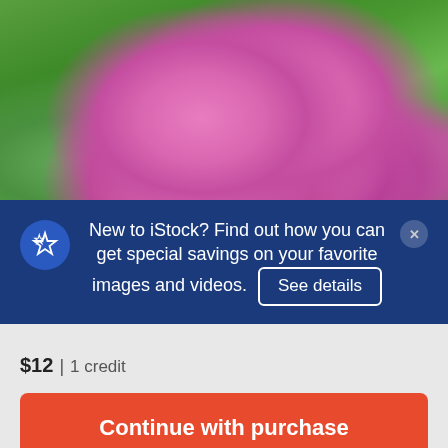[Figure (photo): Close-up photo of pink orchid-like flowers (Himalayan balsam / Impatiens glandulifera) with green leafy background]
New to iStock? Find out how you can get special savings on your favorite images and videos. See details
$12 | 1 credit
Continue with purchase